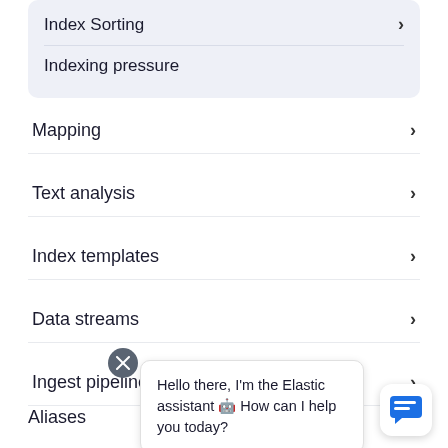Index Sorting
Indexing pressure
Mapping
Text analysis
Index templates
Data streams
Ingest pipelines
Aliases
Search your
Query DSL
Hello there, I'm the Elastic assistant 🤖 How can I help you today?